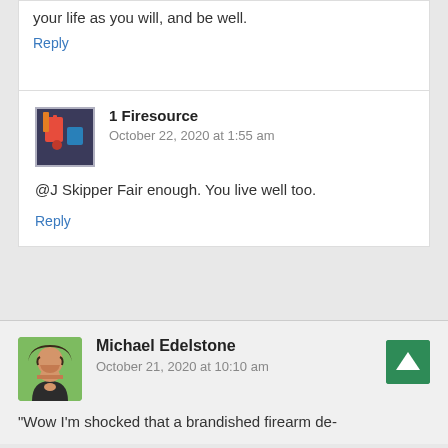your life as you will, and be well.
Reply
1 Firesource
October 22, 2020 at 1:55 am
@J Skipper Fair enough. You live well too.
Reply
Michael Edelstone
October 21, 2020 at 10:10 am
“Wow I’m shocked that a brandished firearm de-